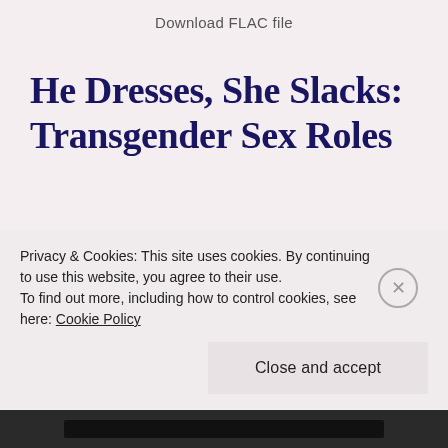Download FLAC file
He Dresses, She Slacks: Transgender Sex Roles
I notice when people complain about weak sex roles. “Women should be women, and men should be men. “If we didn’t have rigid, inappropriate sex roles, might
Privacy & Cookies: This site uses cookies. By continuing to use this website, you agree to their use. To find out more, including how to control cookies, see here: Cookie Policy

Close and accept